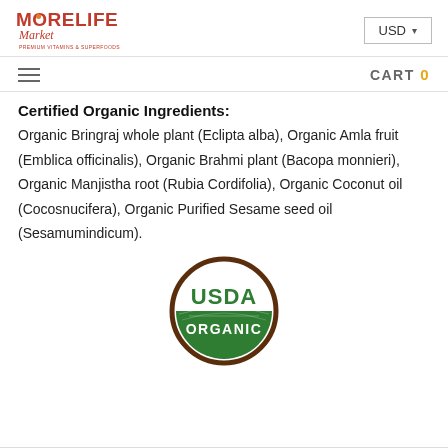[Figure (logo): MoreLife Market logo with red-orange sun icon in the O, script 'Market' text, and small tagline below]
USD ▾
≡   CART 0
Certified Organic Ingredients:
Organic Bringraj whole plant (Eclipta alba), Organic Amla fruit (Emblica officinalis), Organic Brahmi plant (Bacopa monnieri), Organic Manjistha root (Rubia Cordifolia), Organic Coconut oil (Cocosnucifera), Organic Purified Sesame seed oil (Sesamumindicum).
[Figure (logo): USDA Organic circular seal with brown border, green lower half, white USDA text and white ORGANIC text]